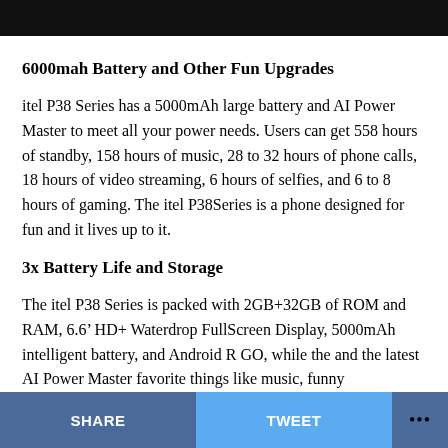[Figure (screenshot): Black top bar of a webpage]
6000mah Battery and Other Fun Upgrades
itel P38 Series has a 5000mAh large battery and AI Power Master to meet all your power needs. Users can get 558 hours of standby, 158 hours of music, 28 to 32 hours of phone calls, 18 hours of video streaming, 6 hours of selfies, and 6 to 8 hours of gaming. The itel P38Series is a phone designed for fun and it lives up to it.
3x Battery Life and Storage
The itel P38 Series is packed with 2GB+32GB of ROM and RAM, 6.6’ HD+ Waterdrop FullScreen Display, 5000mAh intelligent battery, and Android R GO, while the and the latest AI Power Master favorite things like music, funny
SHARE   TWEET   ...